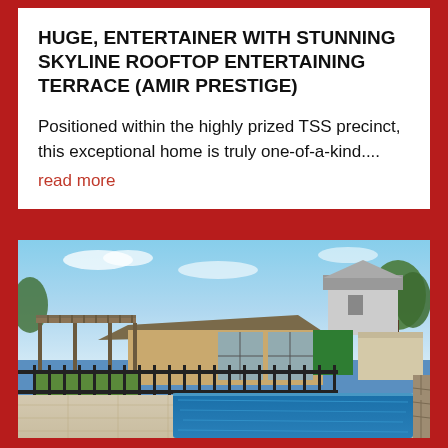HUGE, ENTERTAINER WITH STUNNING SKYLINE ROOFTOP ENTERTAINING TERRACE (AMIR PRESTIGE)
Positioned within the highly prized TSS precinct, this exceptional home is truly one-of-a-kind.... read more
[Figure (photo): Exterior photo of a residential home showing a swimming pool in the foreground with a paved surround, black metal fencing, a covered patio/pergola structure on the left, a brick and glass extension in the center, and trees and neighboring house in the background under a blue sky with light clouds.]